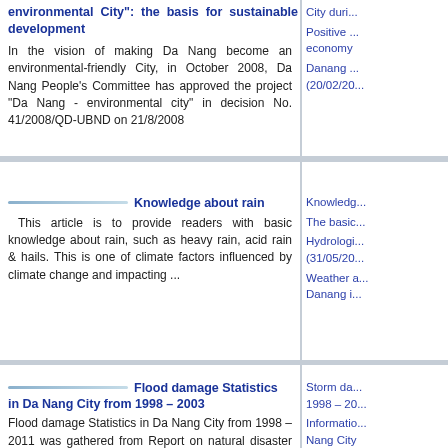environmental City": the basis for sustainable development
In the vision of making Da Nang become an environmental-friendly City, in October 2008, Da Nang People's Committee has approved the project "Da Nang - environmental city" in decision No. 41/2008/QD-UBND on 21/8/2008
City during...
Positive ... economy
Danang ... (20/02/20...
Knowledge about rain
This article is to provide readers with basic knowledge about rain, such as heavy rain, acid rain & hails. This is one of climate factors influenced by climate change and impacting ...
Knowledge...
The basic...
Hydrologi... (31/05/20...
Weather a... Danang i...
Flood damage Statistics in Da Nang City from 1998 – 2003
Flood damage Statistics in Da Nang City from 1998 – 2011 was gathered from Report on natural disaster prevention in Da Nang City of the Steering Committee of Flood and Storm
Storm da... 1998 – 20...
Informatio... Nang City
Assessme...